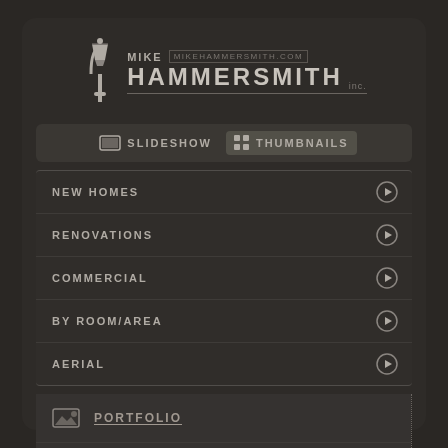[Figure (logo): Mike Hammersmith Inc. logo with street lamp icon and text MIKE HAMMERSMITH inc., URL: MIKEHAMMERSMITH.COM]
SLIDESHOW
THUMBNAILS
NEW HOMES
RENOVATIONS
COMMERCIAL
BY ROOM/AREA
AERIAL
PORTFOLIO
LETTERS
CONTACT